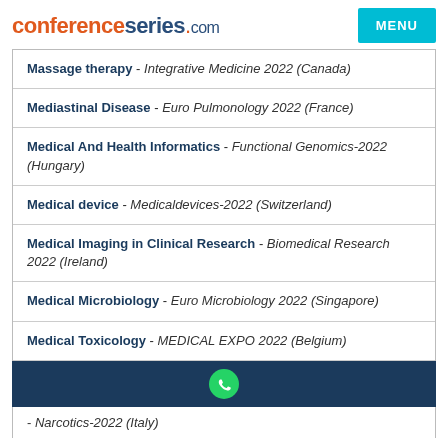conferenceseries.com MENU
Massage therapy - Integrative Medicine 2022 (Canada)
Mediastinal Disease - Euro Pulmonology 2022 (France)
Medical And Health Informatics - Functional Genomics-2022 (Hungary)
Medical device - Medicaldevices-2022 (Switzerland)
Medical Imaging in Clinical Research - Biomedical Research 2022 (Ireland)
Medical Microbiology - Euro Microbiology 2022 (Singapore)
Medical Toxicology - MEDICAL EXPO 2022 (Belgium)
- Narcotics-2022 (Italy)